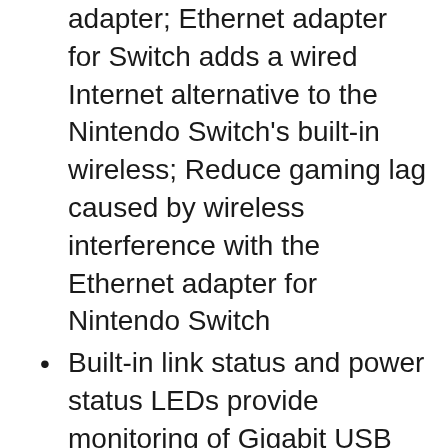adapter; Ethernet adapter for Switch adds a wired Internet alternative to the Nintendo Switch's built-in wireless; Reduce gaming lag caused by wireless interference with the Ethernet adapter for Nintendo Switch
Built-in link status and power status LEDs provide monitoring of Gigabit USB adapter performance; USB bus-powered wired Internet adapter requires no external power adapter
USB to Ethernet adapter 3.0 is compatible with Windows, Linux, and Chrome OS; Switch Ethernet adapter is fully compatible with the Nintendo Switch game console, making the adapter an ideal Nintendo Switch Ethernet adapter; Gain the competitive